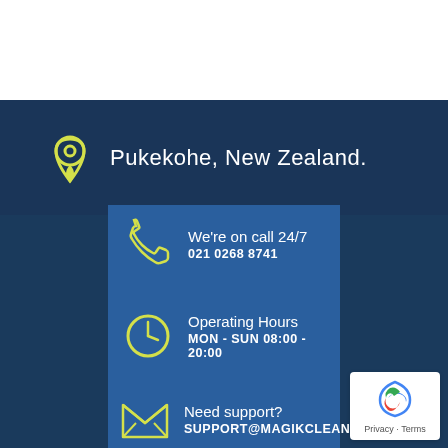Pukekohe, New Zealand.
We're on call 24/7
021 0268 8741
Operating Hours
MON - SUN 08:00 - 20:00
Need support?
SUPPORT@MAGIKCLEAN.CO.NZ